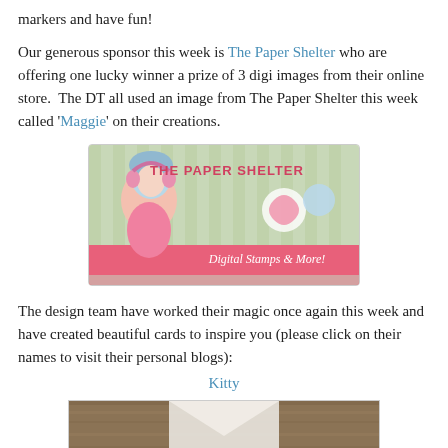markers and have fun!
Our generous sponsor this week is The Paper Shelter who are offering one lucky winner a prize of 3 digi images from their online store.  The DT all used an image from The Paper Shelter this week called 'Maggie' on their creations.
[Figure (illustration): The Paper Shelter banner image showing a cartoon girl with blue hair and pink headphones, with text 'THE PAPER SHELTER' and 'Digital Stamps & More!' on a striped background with candy decorations]
The design team have worked their magic once again this week and have created beautiful cards to inspire you (please click on their names to visit their personal blogs):
Kitty
[Figure (photo): Partial photo of a craft card on a wooden surface, showing a white card or envelope]